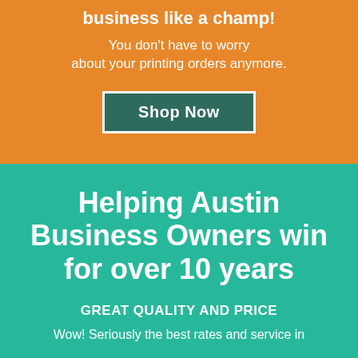business like a champ!
You don't have to worry about your printing orders anymore.
Shop Now
Helping Austin Business Owners win for over 10 years
GREAT QUALITY AND PRICE
Wow! Seriously the best rates and service in